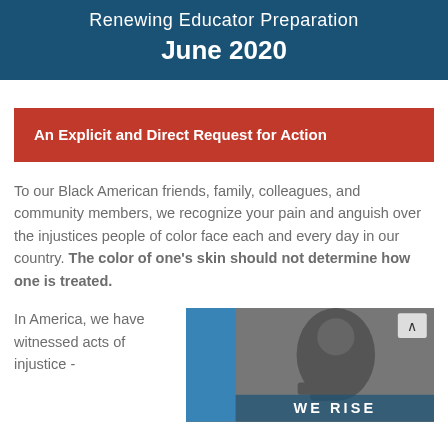Renewing Educator Preparation
June 2020
An Explicit and Direct Request for Action
To our Black American friends, family, colleagues, and community members, we recognize your pain and anguish over the injustices people of color face each and every day in our country. The color of one's skin should not determine how one is treated.
In America, we have witnessed acts of injustice -
[Figure (photo): A grayscale photo with a blue vertical bar on the left side showing a person, with 'WE RISE' text visible at the bottom and a navigation arrow button in the upper right corner.]